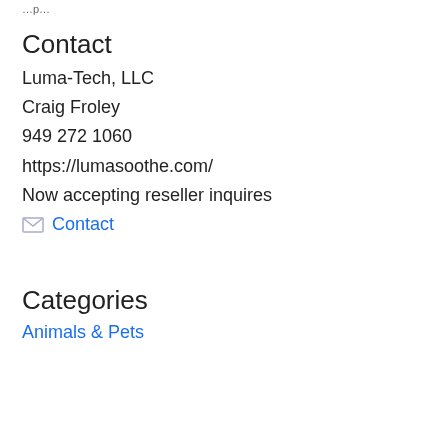…p…
Contact
Luma-Tech, LLC
Craig Froley
949 272 1060
https://lumasoothe.com/
Now accepting reseller inquires
✉  Contact
Categories
Animals & Pets